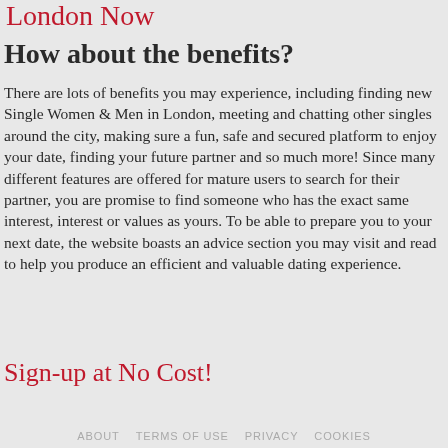London Now
How about the benefits?
There are lots of benefits you may experience, including finding new Single Women & Men in London, meeting and chatting other singles around the city, making sure a fun, safe and secured platform to enjoy your date, finding your future partner and so much more! Since many different features are offered for mature users to search for their partner, you are promise to find someone who has the exact same interest, interest or values as yours. To be able to prepare you to your next date, the website boasts an advice section you may visit and read to help you produce an efficient and valuable dating experience.
Sign-up at No Cost!
ABOUT   TERMS OF USE   PRIVACY   COOKIES